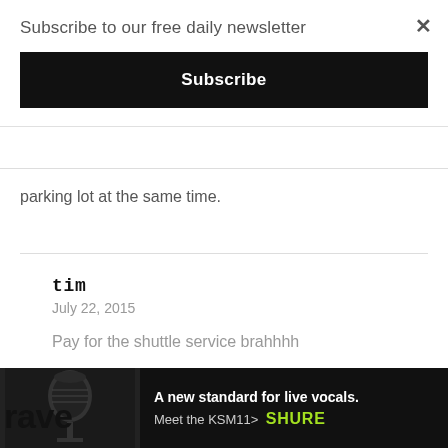Subscribe to our free daily newsletter
Subscribe
parking lot at the same time.
tim
July 22, 2015
Pay for the shuttle service brahhhh
[Figure (infographic): Bottom advertisement banner: microphone image on left, text 'A new standard for live vocals. Meet the KSM11>' with SHURE logo in green on dark background]
rave